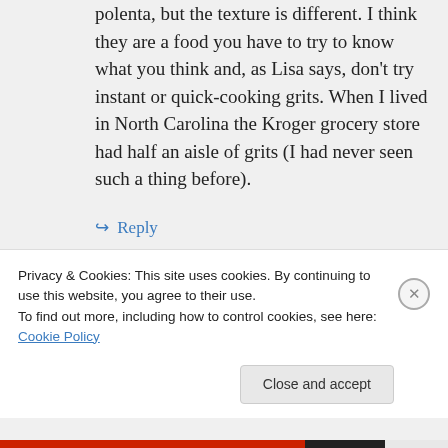polenta, but the texture is different. I think they are a food you have to try to know what you think and, as Lisa says, don't try instant or quick-cooking grits. When I lived in North Carolina the Kroger grocery store had half an aisle of grits (I had never seen such a thing before).
↪ Reply
promenadeplantings on April 19, 2012
Privacy & Cookies: This site uses cookies. By continuing to use this website, you agree to their use.
To find out more, including how to control cookies, see here: Cookie Policy
Close and accept